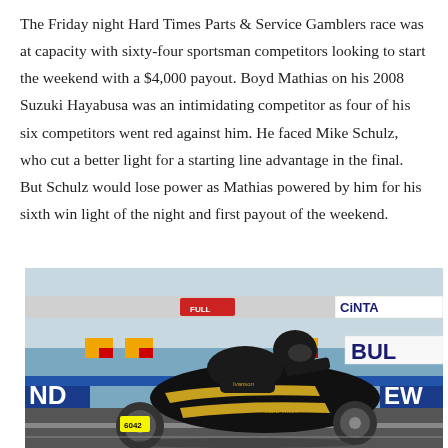The Friday night Hard Times Parts & Service Gamblers race was at capacity with sixty-four sportsman competitors looking to start the weekend with a $4,000 payout. Boyd Mathias on his 2008 Suzuki Hayabusa was an intimidating competitor as four of his six competitors went red against him. He faced Mike Schulz, who cut a better light for a starting line advantage in the final. But Schulz would lose power as Mathias powered by him for his sixth win light of the night and first payout of the weekend.
[Figure (photo): A motorcycle racer in black leather gear riding a black and gold Suzuki Hayabusa drag bike on a race track. Sponsor banners and signage visible in the background including CINTA and BUL signs.]